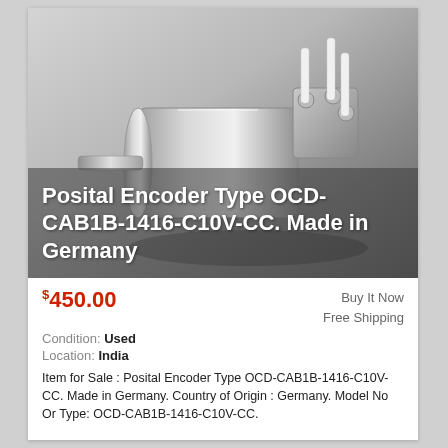[Figure (photo): A stainless steel Posital rotary encoder (OCD-CAB1B-1416-C10V-CC), cylindrical body with connector block and white cable leads on top, lying on a light grey surface. Text overlay reads: Posital Encoder Type OCD-CAB1B-1416-C10V-CC. Made in Germany]
$450.00
Buy It Now
Free Shipping
Condition: Used
Location: India
Item for Sale : Posital Encoder Type OCD-CAB1B-1416-C10V-CC. Made in Germany. Country of Origin : Germany. Model No Or Type: OCD-CAB1B-1416-C10V-CC.